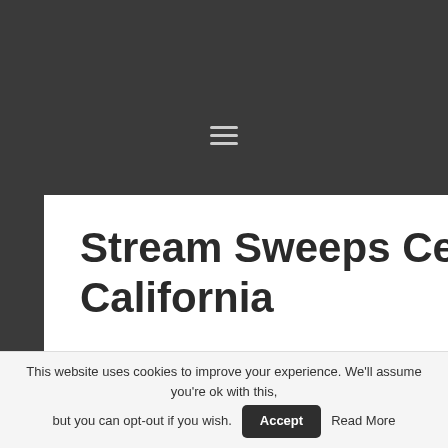≡
Stream Sweeps Cell phone Casinos California
your input here Uncover the mystery of Vegas Casino Holdem poker Chips and discover if they are best suited for you at this time. These on-line casinos are also notable as the real supply of
This website uses cookies to improve your experience. We'll assume you're ok with this, but you can opt-out if you wish. Accept Read More